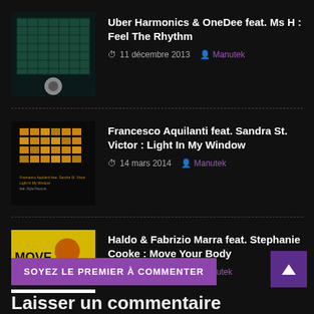[Figure (photo): Album art thumbnail for Uber Harmonics & OneDee feat. Ms H : Feel The Rhythm - dark teal/green mosaic grid pattern with circular logo]
Uber Harmonics & OneDee feat. Ms H : Feel The Rhythm
11 décembre 2013  Manutek
[Figure (photo): Album art thumbnail for Francesco Aquilanti feat. Sandra St. Victor : Light In My Window - dark background with golden/orange grid pattern]
Francesco Aquilanti feat. Sandra St. Victor : Light In My Window
14 mars 2014  Manutek
[Figure (photo): Album art thumbnail for Haldo & Fabrizio Marra feat. Stephanie Cooke : Move Your Body - yellow, black background with MOVE text]
Haldo & Fabrizio Marra feat. Stephanie Cooke : Move Your Body
18 janvier 2013  Manutek
SOYEZ LE PREMIER À COMMENTER
Laisser un commentaire